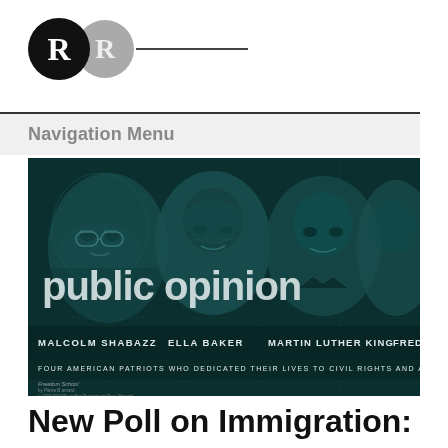[Figure (logo): Two overlapping circles logo: black circle with white R, gray circle with light R, followed by a horizontal line]
Navigation Menu
[Figure (photo): Mural image showing faces of Malcolm Shabazz, Ella Baker, Martin Luther King, and Frederick (partially visible) with text overlay 'public opinion' and caption 'FOUR AMERICAN PATRIOTS WHO DEDICATED THEIR LIVES TO CIVIL RIGHTS AND A BETTER AME...' and 'Freedom School' credit]
New Poll on Immigration: